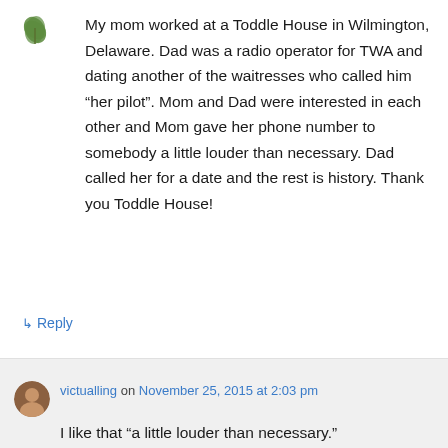[Figure (illustration): Small decorative icon resembling a plant or leaf motif in green, top left corner]
My mom worked at a Toddle House in Wilmington, Delaware. Dad was a radio operator for TWA and dating another of the waitresses who called him “her pilot”. Mom and Dad were interested in each other and Mom gave her phone number to somebody a little louder than necessary. Dad called her for a date and the rest is history. Thank you Toddle House!
↳ Reply
victualling on November 25, 2015 at 2:03 pm
I like that “a little louder than necessary.”
↳ Reply